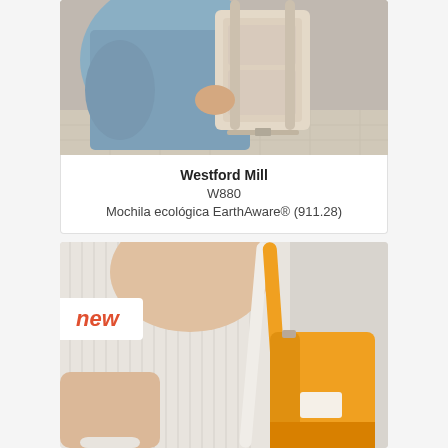[Figure (photo): Person wearing or carrying a beige backpack, shown from behind/side, wearing a blue top]
Westford Mill
W880
Mochila ecológica EarthAware® (911.28)
[Figure (photo): Person carrying a bright orange/yellow tote bag with white straps, wearing a light ribbed sweater. Badge showing 'new' in coral/red italic text on white background.]